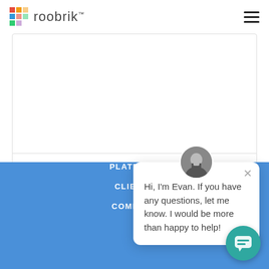roobrik
Read More
Hi, I'm Evan. If you have any questions, let me know. I would be more than happy to help!
PLATFORM
CLIENTS
COMPANY